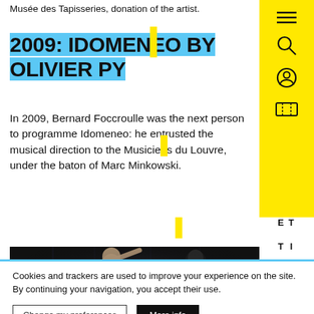Musée des Tapisseries, donation of the artist.
2009: IDOMENEO BY OLIVIER PY
In 2009, Bernard Foccroulle was the next person to programme Idomeneo: he entrusted the musical direction to the Musiciens du Louvre, under the baton of Marc Minkowski.
[Figure (photo): Dark theatrical performance photo showing two performers on stage — one with arms raised and wearing minimal clothing with red marks, another in dark robes — against a dark backdrop with dim vertical lighting elements.]
Cookies and trackers are used to improve your experience on the site. By continuing your navigation, you accept their use.
Change my preferences
More info
Reject additional cookies
Yes, I agree